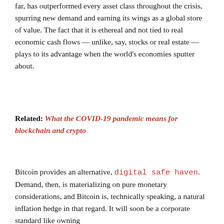far, has outperformed every asset class throughout the crisis, spurring new demand and earning its wings as a global store of value. The fact that it is ethereal and not tied to real economic cash flows — unlike, say, stocks or real estate — plays to its advantage when the world's economies sputter about.
Related: What the COVID-19 pandemic means for blockchain and crypto
Bitcoin provides an alternative, digital safe haven. Demand, then, is materializing on pure monetary considerations, and Bitcoin is, technically speaking, a natural inflation hedge in that regard. It will soon be a corporate standard like owning
Privacy & Cookies: This site uses cookies. By continuing to use this website, you agree to their use.
To find out more, including how to control cookies, see here: Cookie Policy
Close and accept
the treasury hold in digital currency provides a measure of